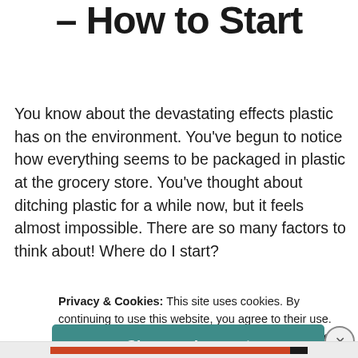Plastic Free July – How to Start
You know about the devastating effects plastic has on the environment. You've begun to notice how everything seems to be packaged in plastic at the grocery store. You've thought about ditching plastic for a while now, but it feels almost impossible. There are so many factors to think about! Where do I start?
Privacy & Cookies: This site uses cookies. By continuing to use this website, you agree to their use.
To find out more, including how to control cookies, see here: Cookie Policy
Close and accept